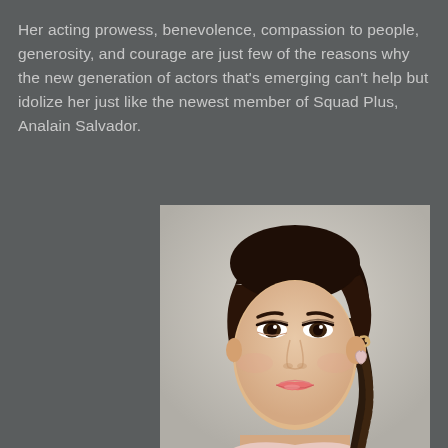Her acting prowess, benevolence, compassion to people, generosity, and courage are just few of the reasons why the new generation of actors that's emerging can't help but idolize her just like the newest member of Squad Plus, Analain Salvador.
[Figure (photo): Portrait photo of a young woman (Analain Salvador) with dark hair pulled back in a braid, wearing ear cuff and heart-shaped earrings, light pink top, set against a light gray background.]